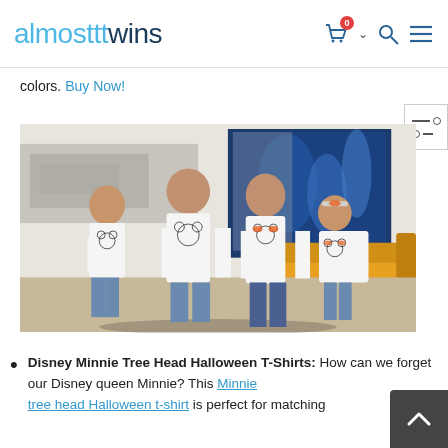[Figure (logo): Almost Twins logo in light blue and dark blue text]
colors. Buy Now!
[Figure (photo): Family of four wearing matching white Disney Mickey/Minnie trick-or-treat Halloween t-shirts, sitting on a yellow couch in a modern living room]
Disney Minnie Tree Head Halloween T-Shirts: How can we forget our Disney queen Minnie? This Minnie tree head Halloween t-shirt is perfect for matching